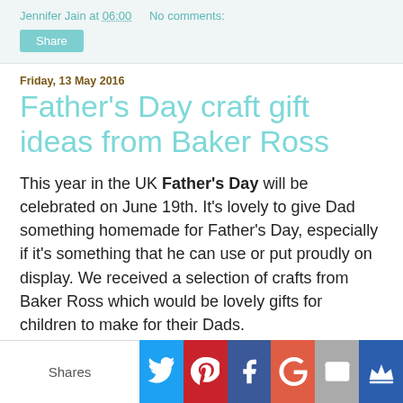Jennifer Jain at 06:00   No comments:
Share
Friday, 13 May 2016
Father's Day craft gift ideas from Baker Ross
This year in the UK Father's Day will be celebrated on June 19th. It's lovely to give Dad something homemade for Father's Day, especially if it's something that he can use or put proudly on display. We received a selection of crafts from Baker Ross which would be lovely gifts for children to make for their Dads.
Firstly I love these Elephant Ceramic Coin Banks. They are really easy for young children to paint, and older children can come up with more intricate decorations. To paint them we used HobbyLine Brights Porcelain Paint Pots which are
Shares | Twitter | Pinterest | Facebook | Google+ | Email | Crown